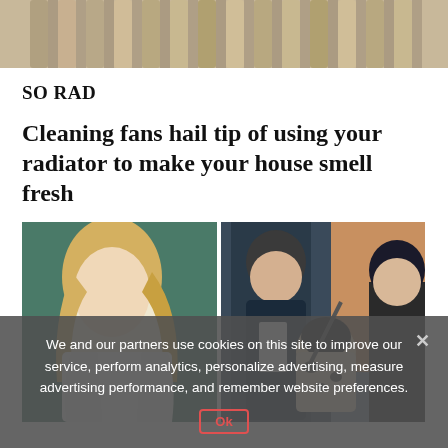[Figure (photo): Top banner image showing a radiator with metallic fins in a warm tan/brown tone]
SO RAD
Cleaning fans hail tip of using your radiator to make your house smell fresh
[Figure (photo): Two side-by-side photos: left shows a blonde woman in white, right shows a man, baby, and woman wearing dark beanies outdoors]
We and our partners use cookies on this site to improve our service, perform analytics, personalize advertising, measure advertising performance, and remember website preferences.